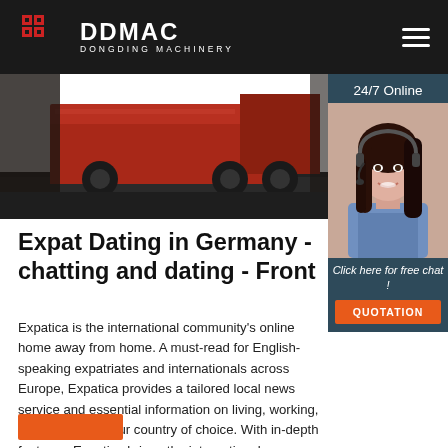DDMAC DONGDING MACHINERY
[Figure (photo): Hero image of a truck/machinery vehicle on a road, dark tones]
[Figure (photo): 24/7 Online chat widget with a woman wearing a headset, blue/dark background, orange QUOTATION button]
Expat Dating in Germany - chatting and dating - Front
Expatica is the international community's online home away from home. A must-read for English-speaking expatriates and internationals across Europe, Expatica provides a tailored local news service and essential information on living, working, and moving to your country of choice. With in-depth features, Expatica brings the international community closer together.